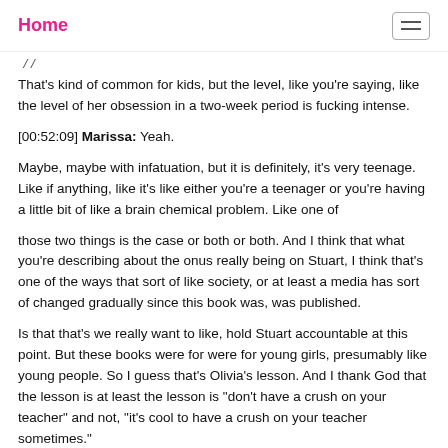Home
That's kind of common for kids, but the level, like you're saying, like the level of her obsession in a two-week period is fucking intense.
[00:52:09] Marissa: Yeah.
Maybe, maybe with infatuation, but it is definitely, it's very teenage. Like if anything, like it's like either you're a teenager or you're having a little bit of like a brain chemical problem. Like one of
those two things is the case or both or both. And I think that what you're describing about the onus really being on Stuart, I think that's one of the ways that sort of like society, or at least a media has sort of changed gradually since this book was, was published.
Is that that's we really want to like, hold Stuart accountable at this point. But these books were for were for young girls, presumably like young people. So I guess that's Olivia's lesson. And I thank God that the lesson is at least the lesson is "don't have a crush on your teacher" and not, "it's cool to have a crush on your teacher sometimes."
[00:53:00] Paris: Yeah, that's true.
[00:53:02] Marissa: let's take small victories